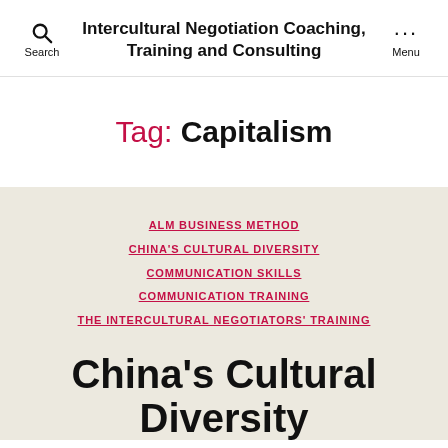Intercultural Negotiation Coaching, Training and Consulting
Tag: Capitalism
ALM BUSINESS METHOD
CHINA'S CULTURAL DIVERSITY
COMMUNICATION SKILLS
COMMUNICATION TRAINING
THE INTERCULTURAL NEGOTIATORS' TRAINING
China's Cultural Diversity